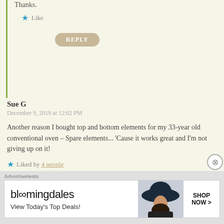Thanks.
★ Like
REPLY
Sue G
December 9, 2019 at 12:02 PM
Another reason I bought top and bottom elements for my 33-year old conventional oven – Spare elements... 'Cause it works great and I'm not giving up on it!
★ Liked by 4 people
REPLY
indianeskitchen
December 9, 2019 at 12:05 PM
Advertisements
[Figure (other): Bloomingdale's advertisement banner with hat image. Text: bloomingdales, View Today's Top Deals!, SHOP NOW >]